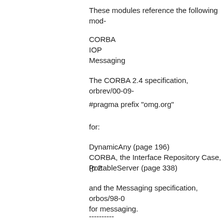These modules reference the following mod-
CORBA
IOP
Messaging
The CORBA 2.4 specification, orbrev/00-09-
#pragma prefix "omg.org"
for:
DynamicAny (page 196)
CORBA, the Interface Repository Case, (p 2
PortableServer (page 338)
and the Messaging specification, orbos/98-0 for messaging.
----------
Proposed solution:
Either explicitly add
#pragma prefix "omg.org"
before Dynamic, IOP_N, PortableInterceptor